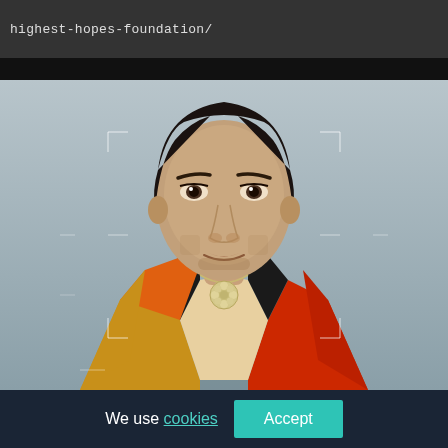highest-hopes-foundation/
[Figure (photo): Portrait photo of a young man with dark hair wearing an orange, red, and black open jacket with a decorative necklace, photographed against a light gray background with camera focus guide lines visible]
We use cookies Accept